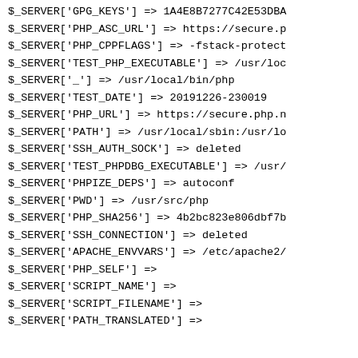$_SERVER['GPG_KEYS'] => 1A4E8B7277C42E53DBA
$_SERVER['PHP_ASC_URL'] => https://secure.p
$_SERVER['PHP_CPPFLAGS'] => -fstack-protect
$_SERVER['TEST_PHP_EXECUTABLE'] => /usr/loc
$_SERVER['_'] => /usr/local/bin/php
$_SERVER['TEST_DATE'] => 20191226-230019
$_SERVER['PHP_URL'] => https://secure.php.n
$_SERVER['PATH'] => /usr/local/sbin:/usr/lo
$_SERVER['SSH_AUTH_SOCK'] => deleted
$_SERVER['TEST_PHPDBG_EXECUTABLE'] => /usr/
$_SERVER['PHPIZE_DEPS'] => autoconf
$_SERVER['PWD'] => /usr/src/php
$_SERVER['PHP_SHA256'] => 4b2bc823e806dbf7b
$_SERVER['SSH_CONNECTION'] => deleted
$_SERVER['APACHE_ENVVARS'] => /etc/apache2/
$_SERVER['PHP_SELF'] =>
$_SERVER['SCRIPT_NAME'] =>
$_SERVER['SCRIPT_FILENAME'] =>
$_SERVER['PATH_TRANSLATED'] =>